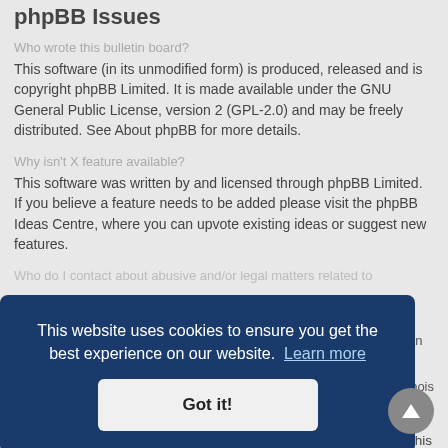phpBB Issues
Who wrote this bulletin board?
This software (in its unmodified form) is produced, released and is copyright phpBB Limited. It is made available under the GNU General Public License, version 2 (GPL-2.0) and may be freely distributed. See About phpBB for more details.
Why isn't X feature available?
This software was written by and licensed through phpBB Limited. If you believe a feature needs to be added please visit the phpBB Ideas Centre, where you can upvote existing ideas or suggest new features.
Who do I contact about abusive and/or legal matters related to this bulletin board?
...d be an ...s no ...o a whois ...fr, ...er... ...iction... and cannot in any way be held liable over how, where or by whom this
[Figure (other): Cookie consent banner overlay with dark blue background. Text reads: 'This website uses cookies to ensure you get the best experience on our website. Learn more' with a 'Got it!' button below.]
[Figure (other): Scroll-to-top circular button with upward arrow, grey background, positioned bottom right.]